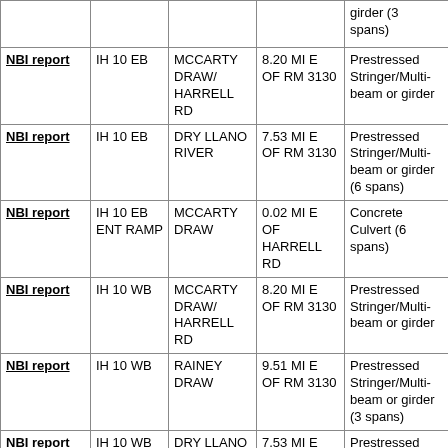|  |  |  |  | girder (3 spans) |
| NBI report | IH 10 EB | MCCARTY DRAW/ HARRELL RD | 8.20 MI E OF RM 3130 | Prestressed Stringer/Multi-beam or girder |
| NBI report | IH 10 EB | DRY LLANO RIVER | 7.53 MI E OF RM 3130 | Prestressed Stringer/Multi-beam or girder (6 spans) |
| NBI report | IH 10 EB ENT RAMP | MCCARTY DRAW | 0.02 MI E OF HARRELL RD | Concrete Culvert (6 spans) |
| NBI report | IH 10 WB | MCCARTY DRAW/ HARRELL RD | 8.20 MI E OF RM 3130 | Prestressed Stringer/Multi-beam or girder |
| NBI report | IH 10 WB | RAINEY DRAW | 9.51 MI E OF RM 3130 | Prestressed Stringer/Multi-beam or girder (3 spans) |
| NBI report | IH 10 WB | DRY LLANO RIVER | 7.53 MI E OF RM 3130 | Prestressed Stringer/Multi-beam or girder (6 spans) |